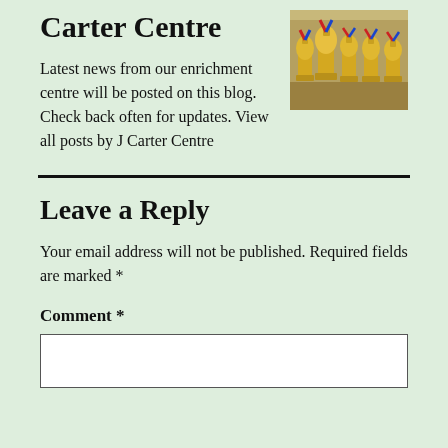Carter Centre
[Figure (photo): Trophies with red and blue ribbons on a table]
Latest news from our enrichment centre will be posted on this blog. Check back often for updates. View all posts by J Carter Centre
Leave a Reply
Your email address will not be published. Required fields are marked *
Comment *